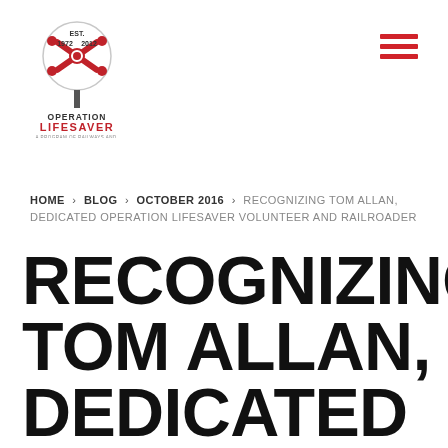[Figure (logo): Operation Lifesaver logo — red railroad crossing sign with 40th anniversary badge, text OPERATION LIFESAVER below]
≡ (hamburger menu icon in red)
HOME › BLOG › OCTOBER 2016 › RECOGNIZING TOM ALLAN, DEDICATED OPERATION LIFESAVER VOLUNTEER AND RAILROADER
RECOGNIZING TOM ALLAN, DEDICATED OPERATION LIFESAVER